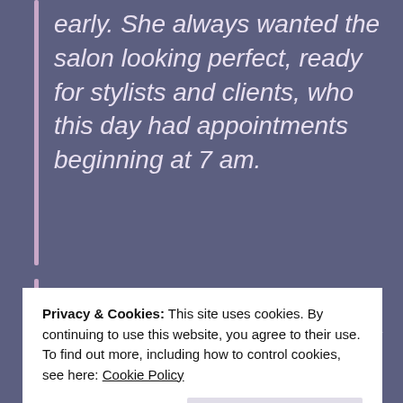early. She always wanted the salon looking perfect, ready for stylists and clients, who this day had appointments beginning at 7 am.
Located off the main avenue of this posh resort at the East End of Long Island, less than ninety miles from Manhattan, the salon was known for catering to the rich and famous, as well as some of
Privacy & Cookies: This site uses cookies. By continuing to use this website, you agree to their use.
To find out more, including how to control cookies, see here: Cookie Policy
client chairs facing gold (well, fake gold),